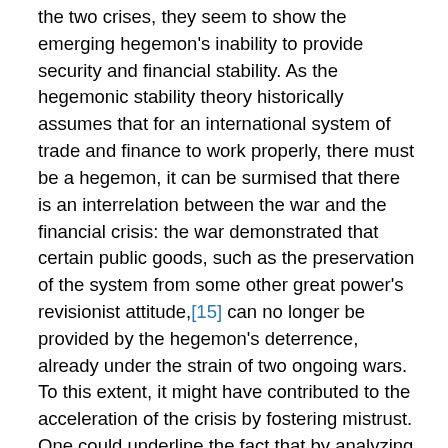the two crises, they seem to show the emerging hegemon's inability to provide security and financial stability. As the hegemonic stability theory historically assumes that for an international system of trade and finance to work properly, there must be a hegemon, it can be surmised that there is an interrelation between the war and the financial crisis: the war demonstrated that certain public goods, such as the preservation of the system from some other great power's revisionist attitude,[15] can no longer be provided by the hegemon's deterrence, already under the strain of two ongoing wars. To this extent, it might have contributed to the acceleration of the crisis by fostering mistrust. One could underline the fact that by analyzing the stock market trends on monthly basis, the reactivity of the international stock market indexes to the Caucasus events has been much more impressive than the reactivity of the single Russian indexes.[16] Of course, this does not provide any evidence, but the fact that